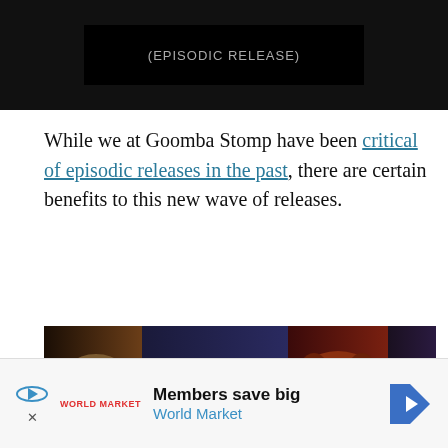[Figure (screenshot): Dark background with a black rectangle in the center containing light gray text (partially visible/cropped title text)]
While we at Goomba Stomp have been critical of episodic releases in the past, there are certain benefits to this new wave of releases.
[Figure (photo): Collage of four video game characters side by side: a realistic-style male character on left, two animated/cartoon-style characters in middle panels (female with hat and male with glowing Borderlands logo), and a bearded intense-looking character and a dark-skinned male character on right panels]
[Figure (screenshot): Advertisement banner: Members save big - World Market, with play button icon and arrow logo]